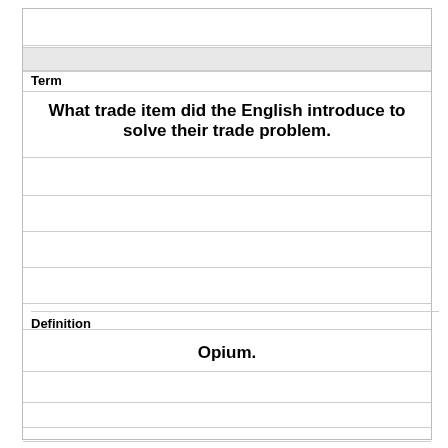Term
What trade item did the English introduce to solve their trade problem.
Definition
Opium.